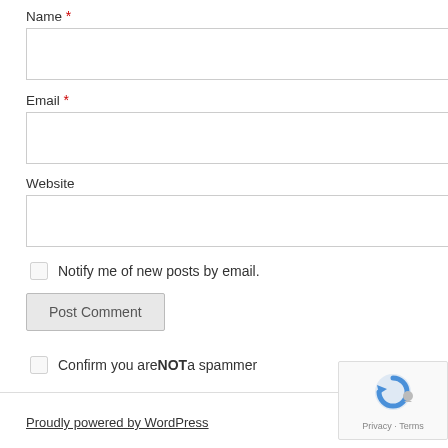Name *
[Figure (screenshot): Empty text input box for Name field]
Email *
[Figure (screenshot): Empty text input box for Email field]
Website
[Figure (screenshot): Empty text input box for Website field]
Notify me of new posts by email.
Post Comment
Confirm you are NOT a spammer
Proudly powered by WordPress